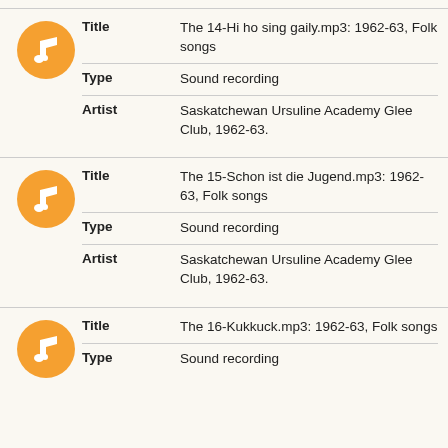| Field | Value |
| --- | --- |
| Title | The 14-Hi ho sing gaily.mp3: 1962-63, Folk songs |
| Type | Sound recording |
| Artist | Saskatchewan Ursuline Academy Glee Club, 1962-63. |
| Field | Value |
| --- | --- |
| Title | The 15-Schon ist die Jugend.mp3: 1962-63, Folk songs |
| Type | Sound recording |
| Artist | Saskatchewan Ursuline Academy Glee Club, 1962-63. |
| Field | Value |
| --- | --- |
| Title | The 16-Kukkuck.mp3: 1962-63, Folk songs |
| Type | Sound recording |